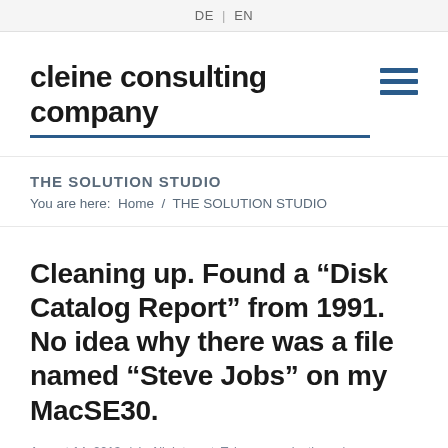DE / EN
cleine consulting company
THE SOLUTION STUDIO
You are here:  Home  /  THE SOLUTION STUDIO
Cleaning up. Found a “Disk Catalog Report” from 1991. No idea why there was a file named “Steve Jobs” on my MacSE30.
August 14, 2013  /  in All, Internet, Telecommunications  /